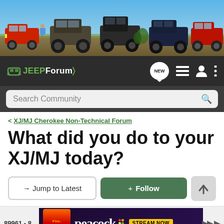[Figure (photo): Banner image of multiple off-road Jeep vehicles on a dirt/desert landscape with blue sky background]
[Figure (screenshot): JEEPForum navigation bar with logo, NEW badge, list icon, user icon, and menu icon]
[Figure (screenshot): Search Community search bar]
< XJ/MJ Cherokee Non-Technical Forum
What did you do to your XJ/MJ today?
→ Jump to Latest
+ Follow
89961 - 8
[Figure (screenshot): Peacock streaming service advertisement banner with Firestarter movie promotion and STREAM NOW button]